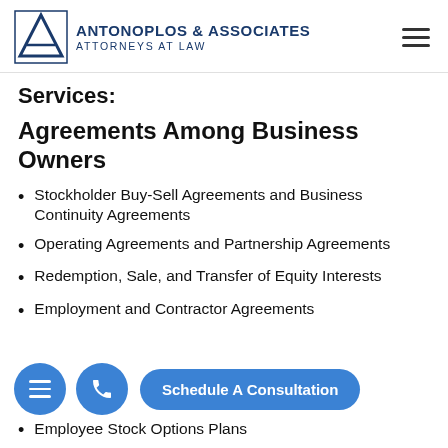[Figure (logo): Antonoplos & Associates Attorneys at Law logo with triangle A icon]
Services:
Agreements Among Business Owners
Stockholder Buy-Sell Agreements and Business Continuity Agreements
Operating Agreements and Partnership Agreements
Redemption, Sale, and Transfer of Equity Interests
Employment and Contractor Agreements
[Figure (screenshot): Mobile UI overlay with hamburger menu button, phone button, and Schedule A Consultation button]
Employee Stock Options Plans